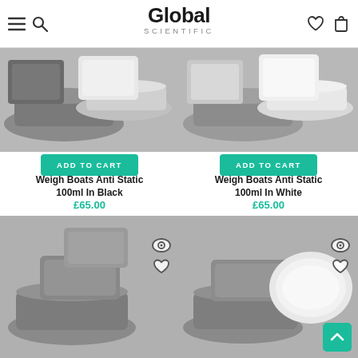Global Scientific — navigation header with menu, search, wishlist, and cart icons
[Figure (photo): Weigh boats anti static 100ml in black — stacked grey weigh boats product photo]
ADD TO CART
Weigh Boats Anti Static 100ml In Black
£65.00
[Figure (photo): Weigh boats anti static 100ml in white — stacked white weigh boats product photo]
ADD TO CART
Weigh Boats Anti Static 100ml In White
£65.00
[Figure (photo): Another weigh boats product — bottom left, grey weigh boats]
[Figure (photo): Another weigh boats product — bottom right, mixed grey and white weigh boats]